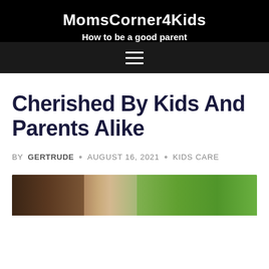MomsCorner4Kids
How to be a good parent
Cherished By Kids And Parents Alike
BY GERTRUDE • AUGUST 16, 2021 • KIDS CARE
[Figure (photo): Outdoor scene with foliage and a structure, partially visible at the bottom of the page]